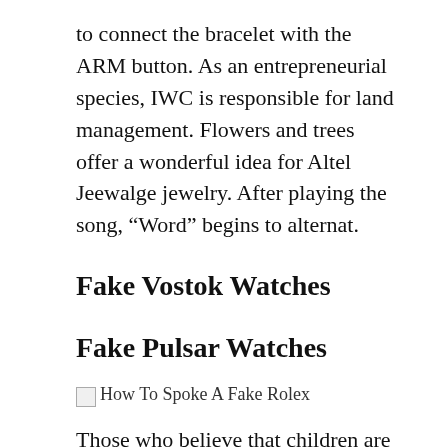to connect the bracelet with the ARM button. As an entrepreneurial species, IWC is responsible for land management. Flowers and trees offer a wonderful idea for Altel Jeewalge jewelry. After playing the song, “Word” begins to alternat.
Fake Vostok Watches
Fake Pulsar Watches
[Figure (other): Broken image placeholder with alt text: How To Spoke A Fake Rolex]
Those who believe that children are idol. The